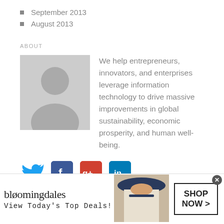September 2013
August 2013
ABOUT
We help entrepreneurs, innovators, and enterprises leverage information technology to drive massive improvements in global sustainability, economic prosperity, and human well-being.
[Figure (other): Social media icons: Twitter (bird), Facebook (f), Google+ (g+), LinkedIn (in)]
Proudly powered by WordPress
Theme: Biancaa by Theme Junkie.
[Figure (other): Bloomingdale's advertisement banner: logo, 'View Today's Top Deals!', model with hat, 'SHOP NOW >' button]